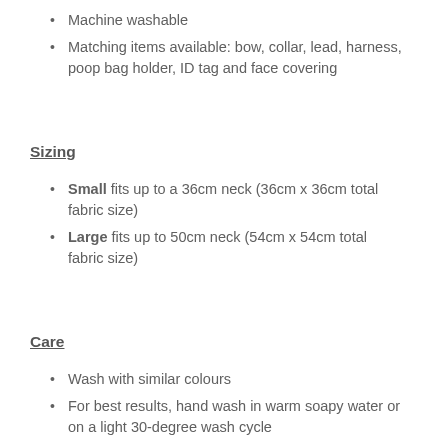Machine washable
Matching items available: bow, collar, lead, harness, poop bag holder, ID tag and face covering
Sizing
Small fits up to a 36cm neck (36cm x 36cm total fabric size)
Large fits up to 50cm neck (54cm x 54cm total fabric size)
Care
Wash with similar colours
For best results, hand wash in warm soapy water or on a light 30-degree wash cycle